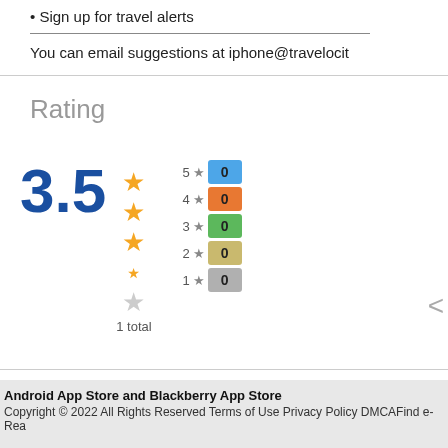• Sign up for travel alerts
You can email suggestions at iphone@travelocit
Rating
[Figure (infographic): Rating display showing 3.5 score with 3.5 stars out of 5, and a breakdown showing 5★:0, 4★:0, 3★:0, 2★:0, 1★:0 with colored badges, 1 total review]
Android App Store and Blackberry App Store
Copyright © 2022 All Rights Reserved Terms of Use Privacy Policy DMCAFind e-Rea